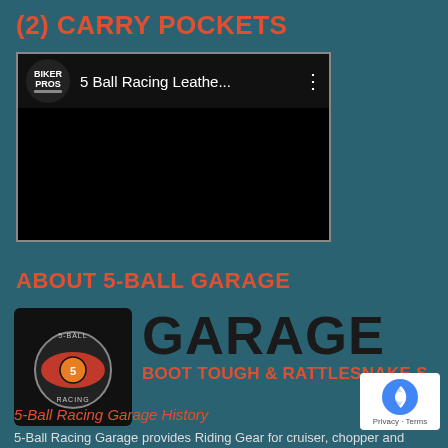(2) CARRY POCKETS
[Figure (screenshot): A YouTube-style video player showing a dark/black video screen with a Biker Pros channel logo and title '5 Ball Racing Leathe...' with a three-dot menu icon.]
ABOUT 5-BALL GARAGE
[Figure (logo): 5-Ball Racing logo (circular badge on black background) next to large black text 'GARAGE' and orange subtitle 'BOOT TOUGH & RATTLESNAKE S']
5-Ball Racing Garage History
5-Ball Racing Garage provides Riding Gear for cruiser, chopper and